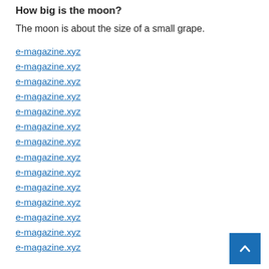How big is the moon?
The moon is about the size of a small grape.
e-magazine.xyz
e-magazine.xyz
e-magazine.xyz
e-magazine.xyz
e-magazine.xyz
e-magazine.xyz
e-magazine.xyz
e-magazine.xyz
e-magazine.xyz
e-magazine.xyz
e-magazine.xyz
e-magazine.xyz
e-magazine.xyz
e-magazine.xyz